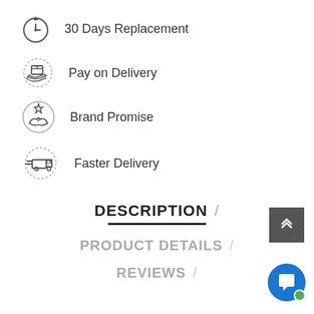30 Days Replacement
Pay on Delivery
Brand Promise
Faster Delivery
DESCRIPTION
PRODUCT DETAILS
REVIEWS